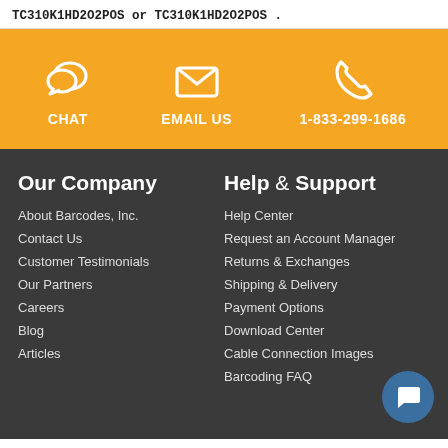TC310K1HD2O2POS or TC310K1HD2O2POS .
[Figure (infographic): Orange contact bar with three icons: chat bubbles icon labeled CHAT, envelope icon labeled EMAIL US, phone icon labeled 1-833-299-1686]
Our Company
About Barcodes, Inc.
Contact Us
Customer Testimonials
Our Partners
Careers
Blog
Articles
Help & Support
Help Center
Request an Account Manager
Returns & Exchanges
Shipping & Delivery
Payment Options
Download Center
Cable Connection Images
Barcoding FAQ